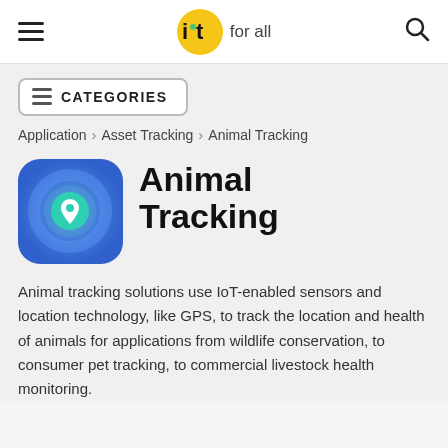IoT for all
CATEGORIES
Application > Asset Tracking > Animal Tracking
[Figure (logo): Blue rounded square app icon with teal circle and location pin symbol]
Animal Tracking
Animal tracking solutions use IoT-enabled sensors and location technology, like GPS, to track the location and health of animals for applications from wildlife conservation, to consumer pet tracking, to commercial livestock health monitoring.